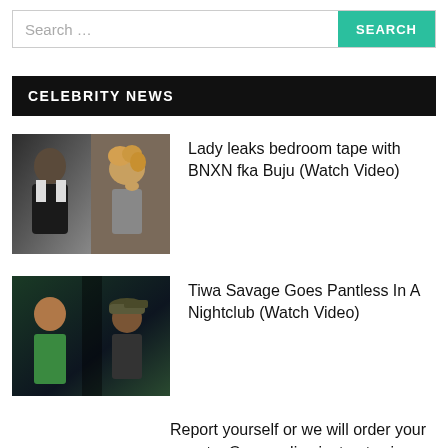[Figure (other): Search bar with input field and teal SEARCH button]
CELEBRITY NEWS
[Figure (photo): Collage of two people: a man in suit and a woman with curly hair]
Lady leaks bedroom tape with BNXN fka Buju (Watch Video)
[Figure (photo): Collage of people including a woman in green and another person with a cap]
Tiwa Savage Goes Pantless In A Nightclub (Watch Video)
Report yourself or we will order your arrest – Ogun police instructs singer Portable after video of him ordering boys to beat someone surfaced